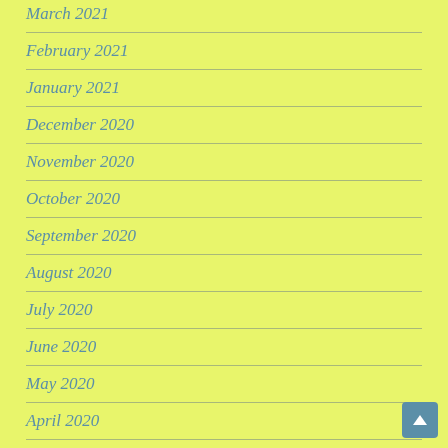March 2021
February 2021
January 2021
December 2020
November 2020
October 2020
September 2020
August 2020
July 2020
June 2020
May 2020
April 2020
March 2020